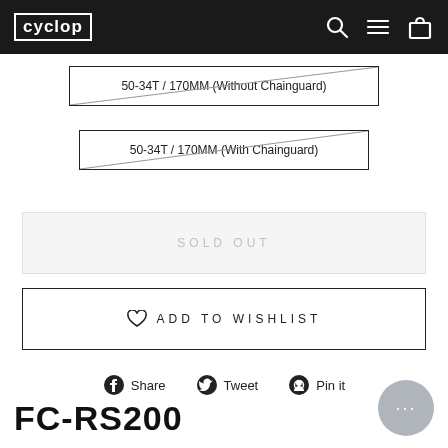cyclop
50-34T / 170MM (Without Chainguard)
50-34T / 170MM (With Chainguard)
SOLD OUT
ADD TO WISHLIST
Share   Tweet   Pin it
FC-RS200